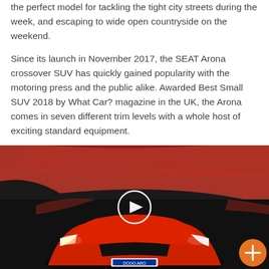the perfect model for tackling the tight city streets during the week, and escaping to wide open countryside on the weekend.
Since its launch in November 2017, the SEAT Arona crossover SUV has quickly gained popularity with the motoring press and the public alike. Awarded Best Small SUV 2018 by What Car? magazine in the UK, the Arona comes in seven different trim levels with a whole host of exciting standard equipment.
[Figure (photo): A red SEAT Arona crossover SUV photographed in a dramatic dark studio environment with red lighting and architectural elements. A play button icon overlays the center of the image indicating a video. An orange plus button is visible in the bottom right corner.]